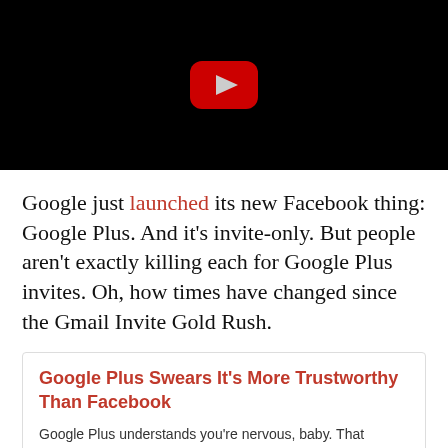[Figure (screenshot): YouTube video thumbnail/embed with black background and YouTube play button icon in center]
Google just launched its new Facebook thing: Google Plus. And it's invite-only. But people aren't exactly killing each for Google Plus invites. Oh, how times have changed since the Gmail Invite Gold Rush.
Google Plus Swears It's More Trustworthy Than Facebook
Google Plus understands you're nervous, baby. That Facebook, he cheated on you, embarrassed…